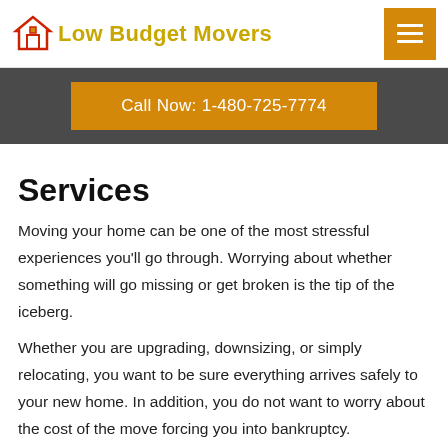Low Budget Movers
Call Now: 1-480-725-7774
Services
Moving your home can be one of the most stressful experiences you'll go through. Worrying about whether something will go missing or get broken is the tip of the iceberg.
Whether you are upgrading, downsizing, or simply relocating, you want to be sure everything arrives safely to your new home. In addition, you do not want to worry about the cost of the move forcing you into bankruptcy.